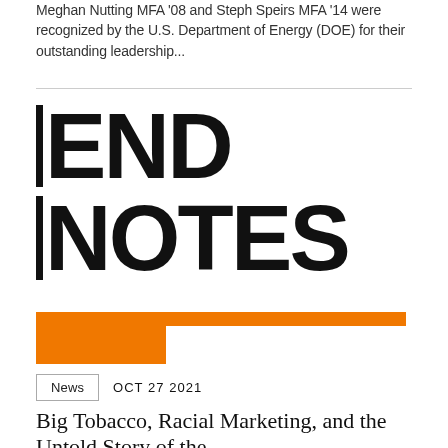Meghan Nutting MFA '08 and Steph Speirs MFA '14 were recognized by the U.S. Department of Energy (DOE) for their outstanding leadership...
[Figure (logo): END NOTES logo in large bold black text with vertical bar accent on left side, followed by an orange rectangular banner graphic]
News   OCT 27 2021
Big Tobacco, Racial Marketing, and the Untold Story of the